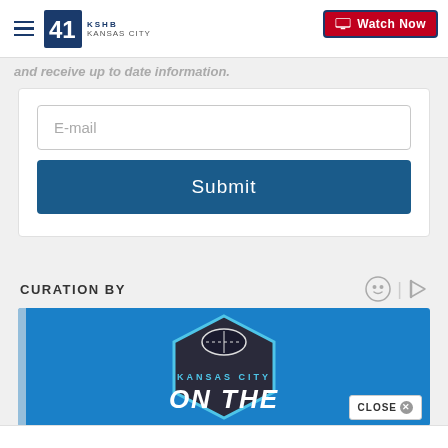41 KSHB KANSAS CITY | Watch Now
and receive up to date information.
[Figure (screenshot): Email input field with placeholder text 'E-mail' and a dark blue Submit button below it, inside a white card.]
CURATION BY
[Figure (screenshot): Kansas City On The... branded image with football and hexagonal shield logo on a blue background. A CLOSE button popup appears in the bottom right corner.]